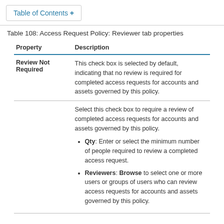Table of Contents +
Table 108: Access Request Policy: Reviewer tab properties
| Property | Description |
| --- | --- |
| Review Not Required | This check box is selected by default, indicating that no review is required for completed access requests for accounts and assets governed by this policy. |
|  | Select this check box to require a review of completed access requests for accounts and assets governed by this policy.
• Qty: Enter or select the minimum number of people required to review a completed access request.
• Reviewers: Browse to select one or more users or groups of users who can review access requests for accounts and assets governed by this policy. |